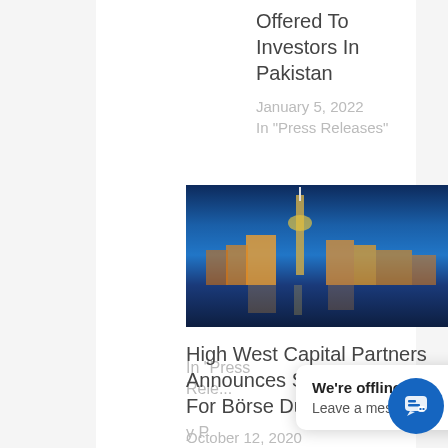Offered To Investors In Pakistan
January 5, 2022
In "Press Releases"
[Figure (photo): Nighttime cityscape with illuminated tower and buildings reflecting on water, Düsseldorf]
High West Capital Partners Announces Service Eligibility For Börse Düsseldorf (XDUS)
October 12, 2020
In "Press
We're offline
Leave a message